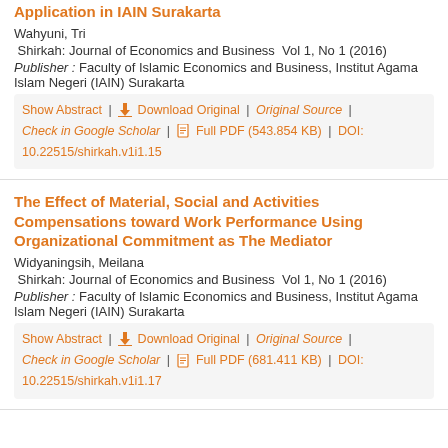Application in IAIN Surakarta
Wahyuni, Tri
Shirkah: Journal of Economics and Business  Vol 1, No 1 (2016)
Publisher : Faculty of Islamic Economics and Business, Institut Agama Islam Negeri (IAIN) Surakarta
Show Abstract | Download Original | Original Source | Check in Google Scholar | Full PDF (543.854 KB) | DOI: 10.22515/shirkah.v1i1.15
The Effect of Material, Social and Activities Compensations toward Work Performance Using Organizational Commitment as The Mediator
Widyaningsih, Meilana
Shirkah: Journal of Economics and Business  Vol 1, No 1 (2016)
Publisher : Faculty of Islamic Economics and Business, Institut Agama Islam Negeri (IAIN) Surakarta
Show Abstract | Download Original | Original Source | Check in Google Scholar | Full PDF (681.411 KB) | DOI: 10.22515/shirkah.v1i1.17